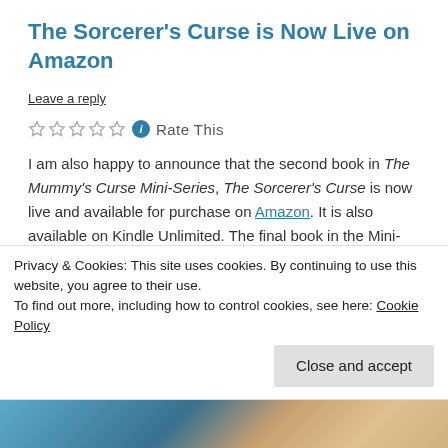The Sorcerer's Curse is Now Live on Amazon
Leave a reply
Rate This
I am also happy to announce that the second book in The Mummy's Curse Mini-Series, The Sorcerer's Curse is now live and available for purchase on Amazon. It is also available on Kindle Unlimited. The final book in the Mini-Series is coming along and will be ready for its release on the 18th of July
Privacy & Cookies: This site uses cookies. By continuing to use this website, you agree to their use.
To find out more, including how to control cookies, see here: Cookie Policy
Close and accept
[Figure (photo): Bottom strip of a photo partially visible at the bottom of the page]